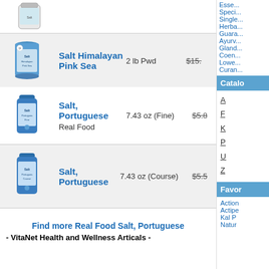[Figure (photo): Salt product image - small container at top]
Salt Himalayan Pink Sea | 2 lb Pwd | $15.x (strikethrough)
Salt, Portuguese | Real Food | 7.43 oz (Fine) | $5.8x (strikethrough)
Salt, Portuguese | 7.43 oz (Course) | $5.5x (strikethrough)
Find more Real Food Salt, Portuguese
- VitaNet Health and Wellness Articals -
Catalo
A
F
K
P
U
Z
Favor
Action
Actipe
Kal P
Natur